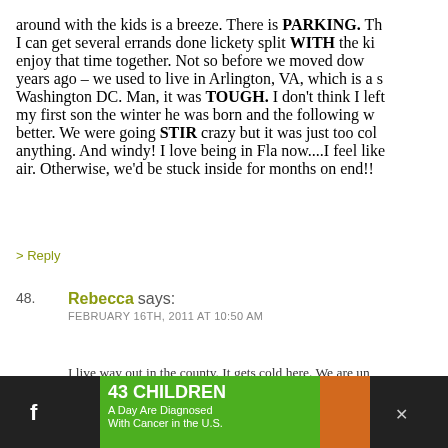around with the kids is a breeze. There is PARKING. I can get several errands done lickety split WITH the kids and enjoy that time together. Not so before we moved down years ago – we used to live in Arlington, VA, which is a suburb of Washington DC. Man, it was TOUGH. I don't think I left with my first son the winter he was born and the following winter was better. We were going STIR crazy but it was just too cold to do anything. And windy! I love being in Fla now....I feel like fresh air. Otherwise, we'd be stuck inside for months on end!!
> Reply
48. Rebecca says: FEBRUARY 16TH, 2011 AT 10:50 AM
I live way out in the county. It gets cold here. We are unusually warm.....for now. But yeah, living in the city and dealing with ....too much
> Reply
[Figure (infographic): Advertisement banner: '43 CHILDREN A Day Are Diagnosed With Cancer in the U.S.' with cookies for kids' cancer logo and 'Let's Get Baking' text on orange background]